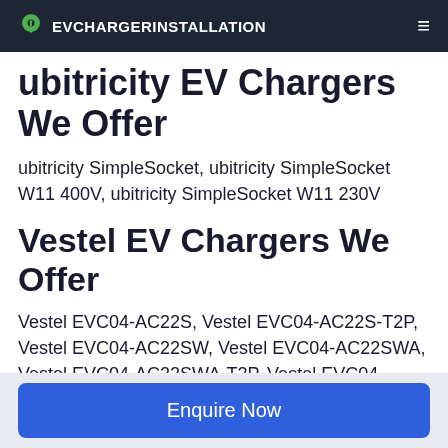EVCHARGERINSTALLATION
ubitricity EV Chargers We Offer
ubitricity SimpleSocket, ubitricity SimpleSocket W11 400V, ubitricity SimpleSocket W11 230V
Vestel EV Chargers We Offer
Vestel EVC04-AC22S, Vestel EVC04-AC22S-T2P, Vestel EVC04-AC22SW, Vestel EVC04-AC22SWA, Vestel EVC04-AC22SWA-T2P, Vestel EVC04-AC22SWDA, Vestel EVC04-AC22SWDA-T2P, Vestel EVC04-AC22SWLDA, Vestel EVC04-AC7S, Vestel EVC04-AC7S-T2P, Vestel EVC04-
Enquire Now